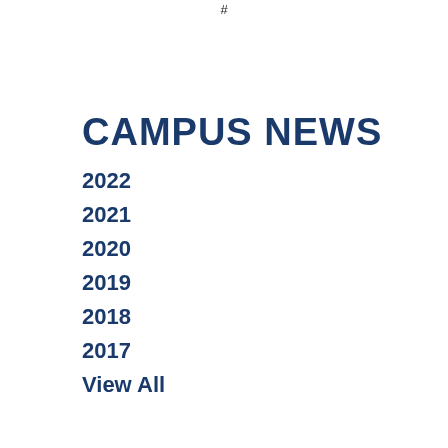#
CAMPUS NEWS
2022
2021
2020
2019
2018
2017
View All